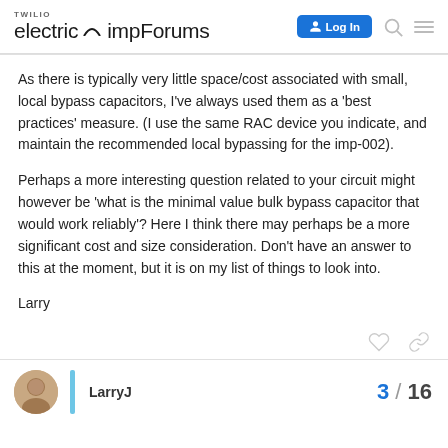TWILIO electric imp Forums
As there is typically very little space/cost associated with small, local bypass capacitors, I've always used them as a 'best practices' measure. (I use the same RAC device you indicate, and maintain the recommended local bypassing for the imp-002).
Perhaps a more interesting question related to your circuit might however be 'what is the minimal value bulk bypass capacitor that would work reliably'? Here I think there may perhaps be a more significant cost and size consideration. Don't have an answer to this at the moment, but it is on my list of things to look into.
Larry
LarryJ  3 / 16